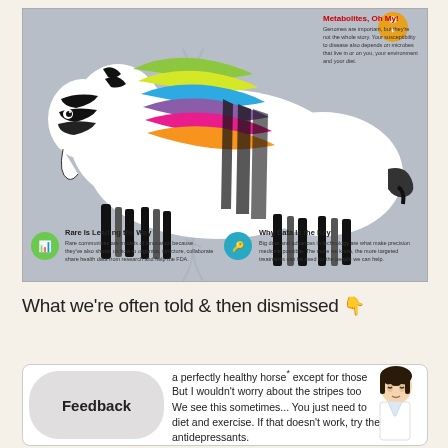[Figure (infographic): Colorful zebra infographic with rainbow-colored stripes (green, yellow, blue, purple, magenta, orange) on the back/mane area, and black-and-white stripes on the rest of the body. Background is grey with a faint DNA double-helix watermark. Top right has a gold badge icon with text 'Metabolites, Oh My!' and explanatory text. Bottom left has a green circle icon labeled 'Rare Is Leading the Way' with description text. Bottom right has a teal key icon labeled 'Why Data Is the Key' with description text.]
What we're often told & then dismissed 👇
a perfectly healthy horse* except for those But I wouldn't worry about the stripes too We see this sometimes... You just need to diet and exercise. If that doesn't work, try these antidepressants.